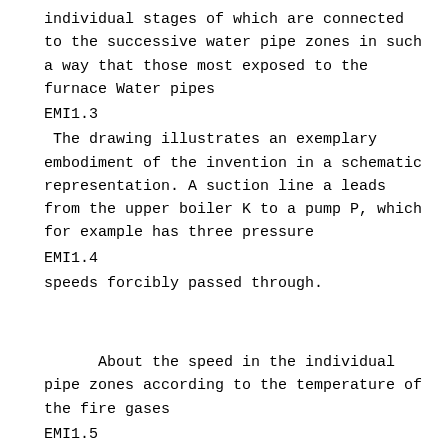individual stages of which are connected to the successive water pipe zones in such a way that those most exposed to the furnace Water pipes
EMI1.3
The drawing illustrates an exemplary embodiment of the invention in a schematic representation. A suction line a leads from the upper boiler K to a pump P, which for example has three pressure
EMI1.4
speeds forcibly passed through.
About the speed in the individual pipe zones according to the temperature of the fire gases
EMI1.5